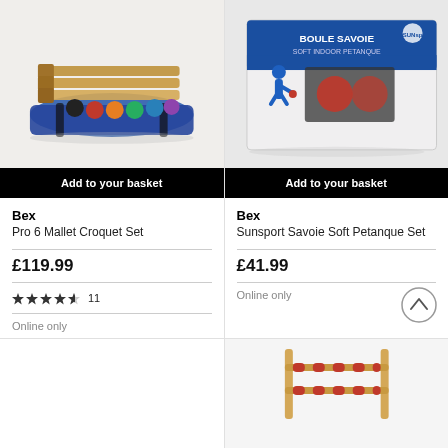[Figure (photo): Croquet set with mallets and coloured balls on a blue carry mat]
Add to your basket
Bex
Pro 6 Mallet Croquet Set
£119.99
★★★★★ 11
Online only
[Figure (photo): Box of Boule Savoie Soft Indoor Petanque Set with blue figure throwing a ball on the packaging]
Add to your basket
Bex
Sunsport Savoie Soft Petanque Set
£41.99
Online only
[Figure (photo): Wooden toy or game partially visible at bottom right corner]